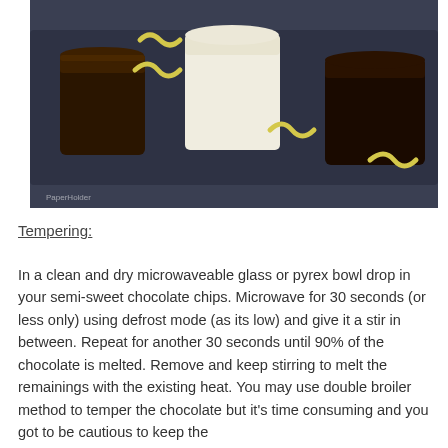[Figure (photo): Photo of chocolate cups on a dark slate board. Three cup-shaped chocolate molds arranged on a rectangular dark tray: a dark chocolate cup on the left, a white chocolate cup in the center, and another dark chocolate cup on the right. Yellow-colored decorative squiggle chocolate pieces are placed around the cups.]
Tempering:
In a clean and dry microwaveable glass or pyrex bowl drop in your semi-sweet chocolate chips. Microwave for 30 seconds (or less only) using defrost mode (as its low) and give it a stir in between. Repeat for another 30 seconds until 90% of the chocolate is melted. Remove and keep stirring to melt the remainings with the existing heat. You may use double broiler method to temper the chocolate but it's time consuming and you got to be cautious to keep the